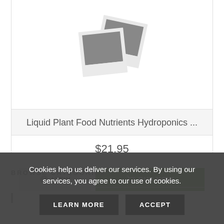[Figure (photo): Two overlapping polaroid-style placeholder photos (grey rectangles with white borders) shown at an angle]
Liquid Plant Food Nutrients Hydroponics ...
$21.95
VIEW
BUY NOW
BROWSE CATEGORIES
Cookies help us deliver our services. By using our services, you agree to our use of cookies.
LEARN MORE
ACCEPT